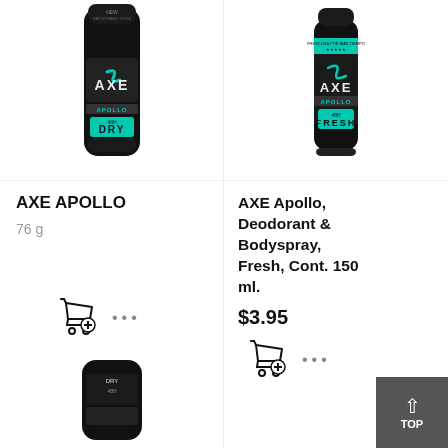[Figure (photo): AXE Apollo deodorant stick, black container with teal accent, DRY label]
[Figure (photo): AXE Apollo body spray can, black with teal Fresh label, 150ml]
AXE APOLLO
76 g
AXE Apollo, Deodorant & Bodyspray, Fresh, Cont. 150 ml.
$3.95
[Figure (photo): AXE product bottom view, black container]